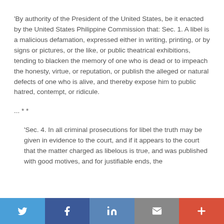'By authority of the President of the United States, be it enacted by the United States Philippine Commission that: Sec. 1. A libel is a malicious defamation, expressed either in writing, printing, or by signs or pictures, or the like, or public theatrical exhibitions, tending to blacken the memory of one who is dead or to impeach the honesty, virtue, or reputation, or publish the alleged or natural defects of one who is alive, and thereby expose him to public hatred, contempt, or ridicule.
... * *
'Sec. 4. In all criminal prosecutions for libel the truth may be given in evidence to the court, and if it appears to the court that the matter charged as libelous is true, and was published with good motives, and for justifiable ends, the